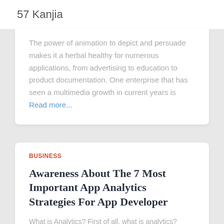57 Kanjia
The power of animation to depict and persuade makes it a herbal healthy for numerous applications, from advertising to education to product documentation. One enterprise that has seen a multimedia growth in current years is Read more...
BUSINESS
Awareness About The 7 Most Important App Analytics Strategies For App Developer
What is Analytics? First of all, what is analytics? Analytics